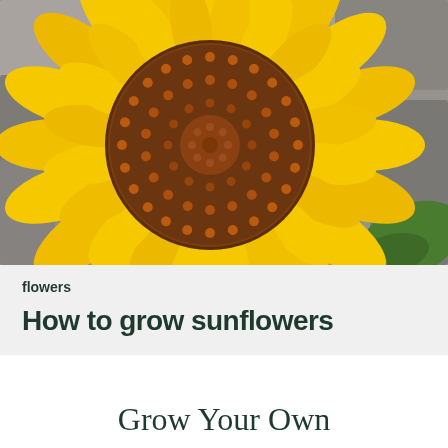[Figure (photo): Close-up photograph of a sunflower with bright yellow petals and a large brown/orange center disk, with a grey stone wall and green leaf visible in the background.]
flowers
How to grow sunflowers
Grow Your Own